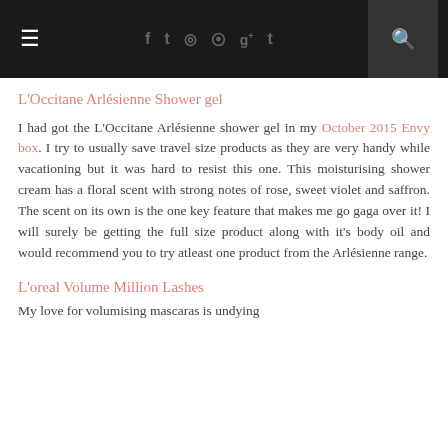≡  f  t  ⊙  ℗  g+  t  🔍
L'Occitane Arlésienne Shower gel
I had got the L'Occitane Arlésienne shower gel in my October 2015 Envy box. I try to usually save travel size products as they are very handy while vacationing but it was hard to resist this one. This moisturising shower cream has a floral scent with strong notes of rose, sweet violet and saffron. The scent on its own is the one key feature that makes me go gaga over it! I will surely be getting the full size product along with it's body oil and would recommend you to try atleast one product from the Arlésienne range.
L'oreal Volume Million Lashes
My love for volumising mascaras is undying